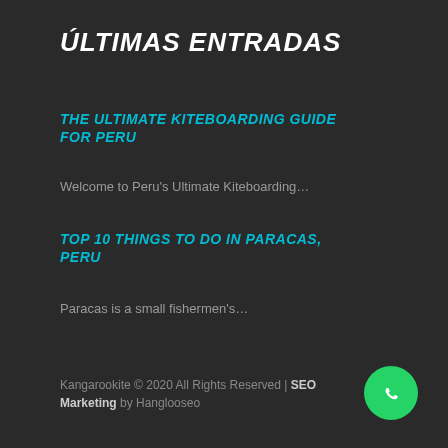ÚLTIMAS ENTRADAS
THE ULTIMATE KITEBOARDING GUIDE FOR PERU
Welcome to Peru's Ultimate Kiteboarding…
TOP 10 THINGS TO DO IN PARACAS, PERU
Paracas is a small fishermen's…
Kangarookite © 2020 All Rights Reserved | SEO Marketing by Hanglooseo